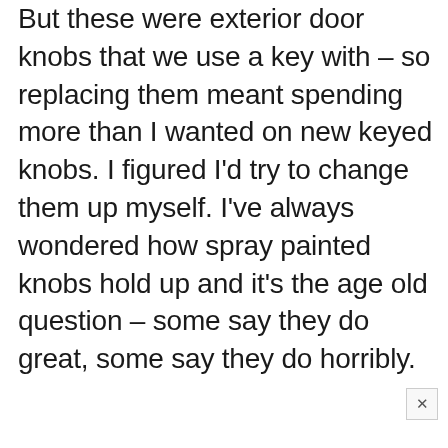But these were exterior door knobs that we use a key with – so replacing them meant spending more than I wanted on new keyed knobs. I figured I'd try to change them up myself. I've always wondered how spray painted knobs hold up and it's the age old question – some say they do great, some say they do horribly.